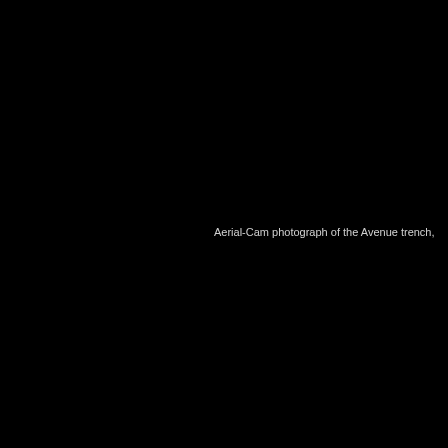[Figure (photo): Aerial-Cam photograph of the Avenue trench, showing an almost entirely black image with caption text visible in the lower-center-right area.]
Aerial-Cam photograph of the Avenue trench,